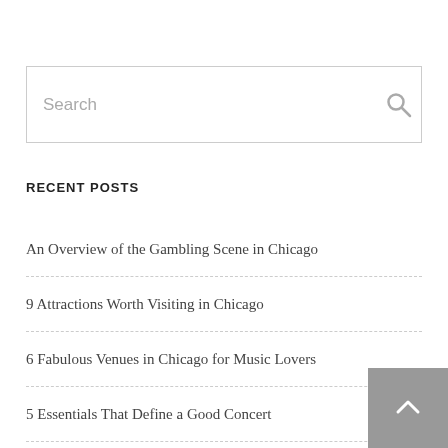Search
RECENT POSTS
An Overview of the Gambling Scene in Chicago
9 Attractions Worth Visiting in Chicago
6 Fabulous Venues in Chicago for Music Lovers
5 Essentials That Define a Good Concert
4 Greatest Live Concert Performances Ever